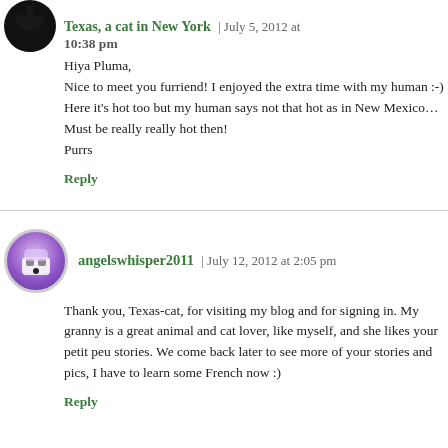Texas, a cat in New York | July 5, 2012 at 10:38 pm
Hiya Pluma,
Nice to meet you furriend! I enjoyed the extra time with my human :-) Here it’s hot too but my human says not that hot as in New Mexico… Must be really really hot then!
Purrs
Reply
angelswhisper2011 | July 12, 2012 at 2:05 pm
Thank you, Texas-cat, for visiting my blog and for signing in. My granny is a great animal and cat lover, like myself, and she likes your petit peu stories. We come back later to see more of your stories and pics, I have to learn some French now :)
Reply